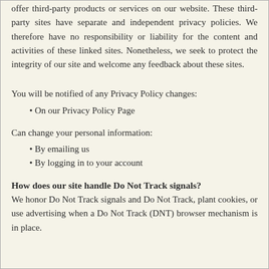offer third-party products or services on our website. These third-party sites have separate and independent privacy policies. We therefore have no responsibility or liability for the content and activities of these linked sites. Nonetheless, we seek to protect the integrity of our site and welcome any feedback about these sites.
You will be notified of any Privacy Policy changes:
On our Privacy Policy Page
Can change your personal information:
By emailing us
By logging in to your account
How does our site handle Do Not Track signals?
We honor Do Not Track signals and Do Not Track, plant cookies, or use advertising when a Do Not Track (DNT) browser mechanism is in place.